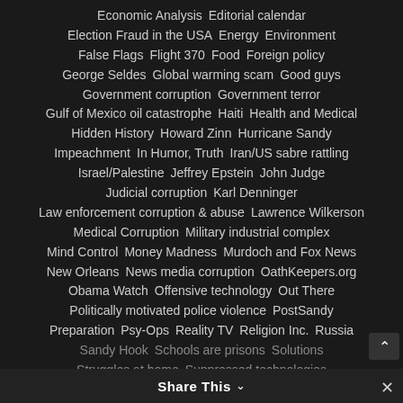Economic Analysis   Editorial calendar
Election Fraud in the USA   Energy   Environment
False Flags   Flight 370   Food   Foreign policy
George Seldes   Global warming scam   Good guys
Government corruption   Government terror
Gulf of Mexico oil catastrophe   Haiti   Health and Medical
Hidden History   Howard Zinn   Hurricane Sandy
Impeachment   In Humor, Truth   Iran/US sabre rattling
Israel/Palestine   Jeffrey Epstein   John Judge
Judicial corruption   Karl Denninger
Law enforcement corruption & abuse   Lawrence Wilkerson
Medical Corruption   Military industrial complex
Mind Control   Money Madness   Murdoch and Fox News
New Orleans   News media corruption   OathKeepers.org
Obama Watch   Offensive technology   Out There
Politically motivated police violence   PostSandy
Preparation   Psy-Ops   Reality TV   Religion Inc.   Russia
Sandy Hook   Schools are prisons   Solutions
Struggles at home   Suppressed technologies
Share This